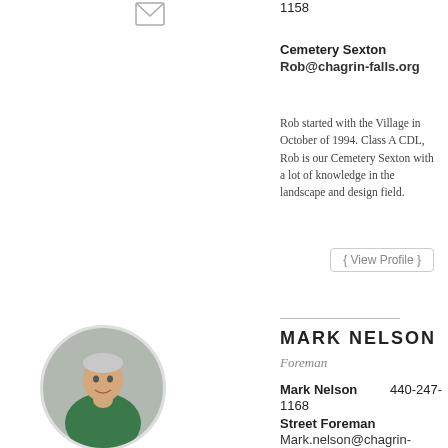[Figure (other): Envelope/mail icon]
1158
Cemetery Sexton
Rob@chagrin-falls.org
Rob started with the Village in October of 1994. Class A CDL, Rob is our Cemetery Sexton with a lot of knowledge in the landscape and design field.
{ View Profile }
[Figure (photo): Circular portrait photo of Mark Nelson, a man wearing a green polo shirt]
MARK NELSON
Foreman
Mark Nelson	440-247-1168
Street Foreman
Mark.nelson@chagrin-falls.org
Mark started with the Village in June of